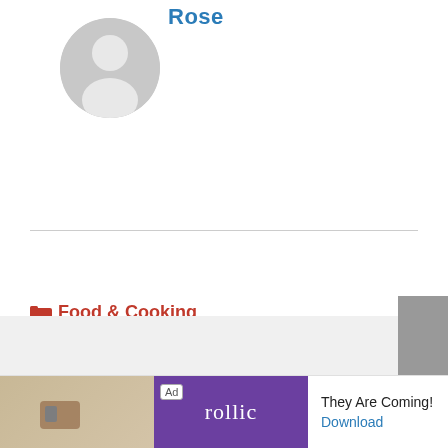Rose
[Figure (illustration): Gray circular avatar placeholder with silhouette of a person]
Food & Cooking
< How to Use a BBQ Grill Mat?
> What Does The Red Snapper Taste Like: Curious Foodie's Guide To The Depths Of The Ocean
[Figure (screenshot): Ad banner with Rollic game advertisement saying They Are Coming! with a Download button]